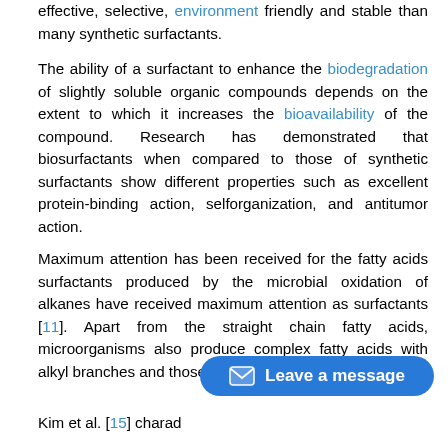effective, selective, environment friendly and stable than many synthetic surfactants.
The ability of a surfactant to enhance the biodegradation of slightly soluble organic compounds depends on the extent to which it increases the bioavailability of the compound. Research has demonstrated that biosurfactants when compared to those of synthetic surfactants show different properties such as excellent protein-binding action, selforganization, and antitumor action.
Maximum attention has been received for the fatty acids surfactants produced by the microbial oxidation of alkanes have received maximum attention as surfactants [11]. Apart from the straight chain fatty acids, microorganisms also produce complex fatty acids with alkyl branches and those containing OH groups [12-14].
Kim et al. [15] chara... d